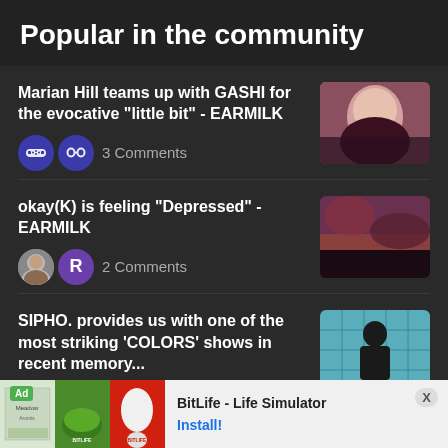Popular in the community
Marian Hill teams up with GASHI for the evocative “little bit” - EARMILK
3 Comments
okay(K) is feeling "Depressed" - EARMILK
2 Comments
SIPHO. provides us with one of the most striking 'COLORS' shows in recent memory...
1 Comment
Ad  BitLife - Life Simulator  Install!